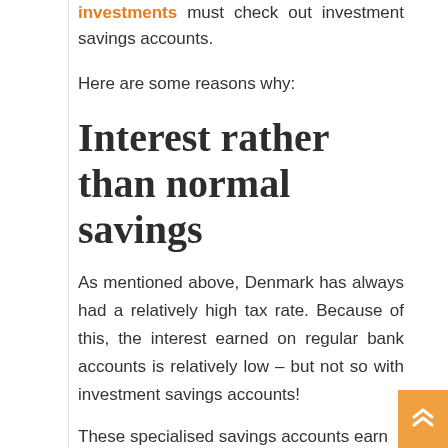investments must check out investment savings accounts.
Here are some reasons why:
Interest rather than normal savings
As mentioned above, Denmark has always had a relatively high tax rate. Because of this, the interest earned on regular bank accounts is relatively low – but not so with investment savings accounts!
These specialised savings accounts earn